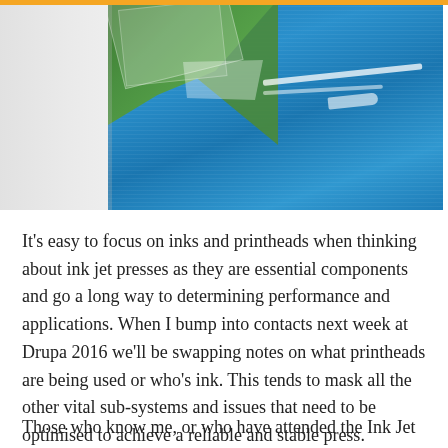[Figure (photo): Aerial photograph showing a coastal harbor/port area with blue water, green land mass, and what appears to be a pier or jetty extending into the water. Scattered photographs or postcards visible in upper-left area.]
It's easy to focus on inks and printheads when thinking about ink jet presses as they are essential components and go a long way to determining performance and applications. When I bump into contacts next week at Drupa 2016 we'll be swapping notes on what printheads are being used or who's ink. This tends to mask all the other vital sub-systems and issues that need to be optimised to achieve a reliable and stable press.
Those who know me, or who have attended the Ink Jet academy course that I jointly